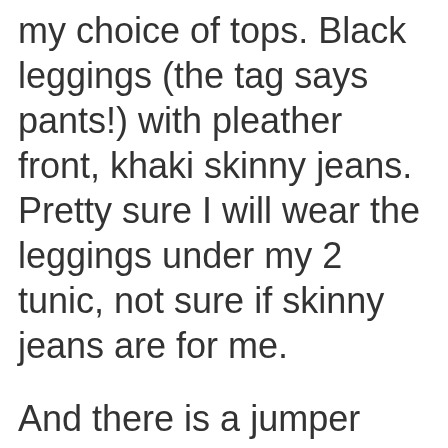my choice of tops. Black leggings (the tag says pants!) with pleather front, khaki skinny jeans. Pretty sure I will wear the leggings under my 2 tunics, not sure if skinny jeans are for me.
And there is a jumper (sweater) that I bought on clearance in summer, in my winter boxes. Too hot to unpack those yet.